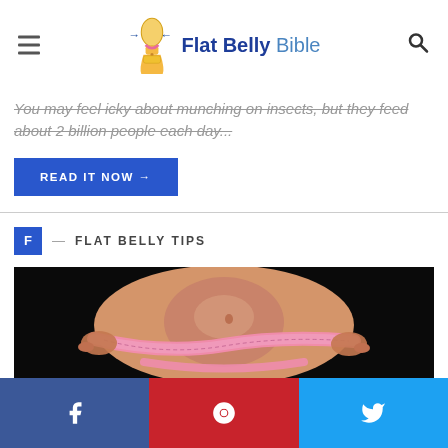Flat Belly Bible
You may feel icky about munching on insects, but they feed about 2 billion people each day...
READ IT NOW →
F — FLAT BELLY TIPS
[Figure (photo): Close-up of a woman's flat abdomen with a pink measuring tape wrapped around it against a dark background]